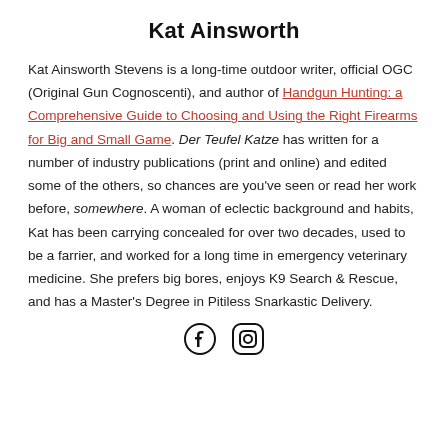Kat Ainsworth
Kat Ainsworth Stevens is a long-time outdoor writer, official OGC (Original Gun Cognoscenti), and author of Handgun Hunting: a Comprehensive Guide to Choosing and Using the Right Firearms for Big and Small Game. Der Teufel Katze has written for a number of industry publications (print and online) and edited some of the others, so chances are you've seen or read her work before, somewhere. A woman of eclectic background and habits, Kat has been carrying concealed for over two decades, used to be a farrier, and worked for a long time in emergency veterinary medicine. She prefers big bores, enjoys K9 Search & Rescue, and has a Master's Degree in Pitiless Snarkastic Delivery.
[Figure (illustration): Facebook and Instagram social media icons]